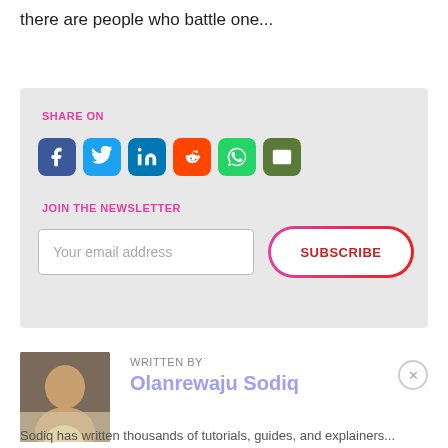there are people who battle one...
[Figure (screenshot): Share on social media box with icons for Facebook, Twitter, LinkedIn, Reddit, WhatsApp, and Email, plus a newsletter signup with email input and Subscribe button]
WRITTEN BY
Olanrewaju Sodiq
Sodiq has written thousands of tutorials, guides, and explainers...